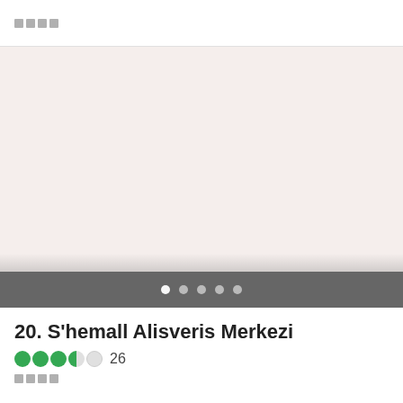□□□□
[Figure (photo): Large photo placeholder area with beige/off-white background, fading to dark gray at bottom with navigation dots overlay]
20. S'hemall Alisveris Merkezi
●●●◐○  26
□□□□